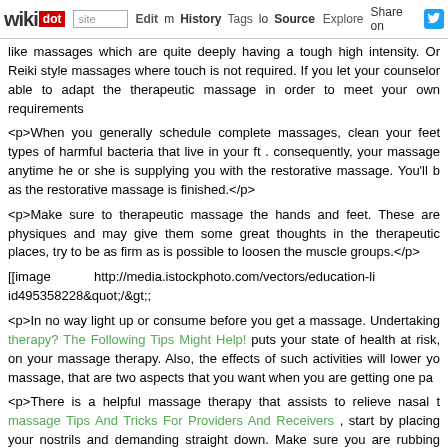wikidot | site | Edit | History | Tags | Source | Explore | Share on [Twitter]
like massages which are quite deeply having a tough high intensity. Or Reiki style massages where touch is not required. If you let your counselor able to adapt the therapeutic massage in order to meet your own requirements
<p>When you generally schedule complete massages, clean your feet types of harmful bacteria that live in your ft . consequently, your massage anytime he or she is supplying you with the restorative massage. You'll be as the restorative massage is finished.</p>
<p>Make sure to therapeutic massage the hands and feet. These are physiques and may give them some great thoughts in the therapeutic places, try to be as firm as is possible to loosen the muscle groups.</p>
[[image http://media.istockphoto.com/vectors/education-li id495358228&quot;/&gt;;
<p>In no way light up or consume before you get a massage. Undertaking therapy? The Following Tips Might Help! puts your state of health at risk, on your massage therapy. Also, the effects of such activities will lower your massage, that are two aspects that you want when you are getting one particular.</p>
<p>There is a helpful massage therapy that assists to relieve nasal trouble. massage Tips And Tricks For Providers And Receivers , start by placing your nostrils and demanding straight down. Make sure you are rubbing past your eyeballs, relocating straight down and rubbing out. Massage the cheekbones then place your thumbs on your temples, moving in modest communities.</p>
<p>Hear The Best Way To Get A Fantastic Massage and comply with any advice. These are experts all things considered. Provided that this person has been in reliable position. This is the best massage and has a long list of things